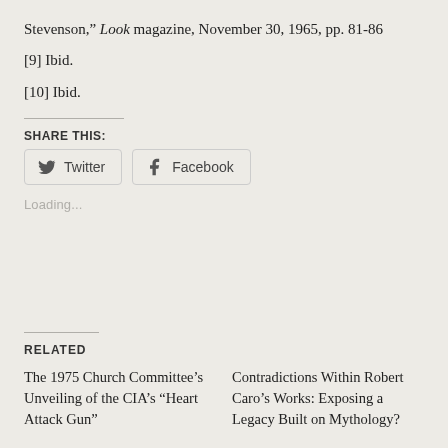Stevenson," Look magazine, November 30, 1965, pp. 81-86
[9] Ibid.
[10] Ibid.
SHARE THIS:
Twitter  Facebook
Loading...
RELATED
The 1975 Church Committee's Unveiling of the CIA's "Heart Attack Gun"
Contradictions Within Robert Caro's Works: Exposing a Legacy Built on Mythology?